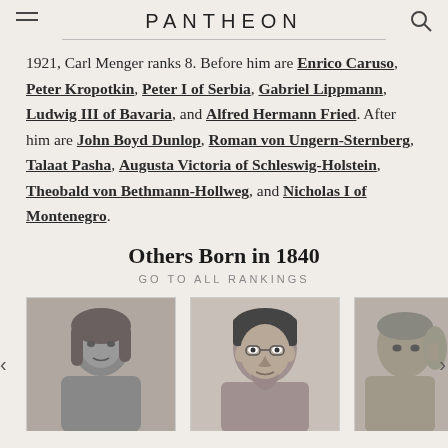PANTHEON
1921, Carl Menger ranks 8. Before him are Enrico Caruso, Peter Kropotkin, Peter I of Serbia, Gabriel Lippmann, Ludwig III of Bavaria, and Alfred Hermann Fried. After him are John Boyd Dunlop, Roman von Ungern-Sternberg, Talaat Pasha, Augusta Victoria of Schleswig-Holstein, Theobald von Bethmann-Hollweg, and Nicholas I of Montenegro.
Others Born in 1840
GO TO ALL RANKINGS
[Figure (photo): Black and white portrait photograph of a person with long hair, partially visible, left side of frame]
[Figure (photo): Black and white portrait photograph of a man with dark hair and glasses, center frame]
[Figure (photo): Black and white portrait photograph of a person, partially visible, right side of frame, cropped]